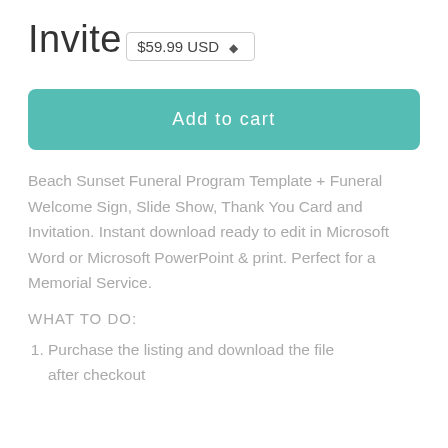Invite
$59.99 USD ◆
Add to cart
Beach Sunset Funeral Program Template + Funeral Welcome Sign, Slide Show, Thank You Card and Invitation. Instant download ready to edit in Microsoft Word or Microsoft PowerPoint & print. Perfect for a Memorial Service.
WHAT TO DO:
Purchase the listing and download the file after checkout